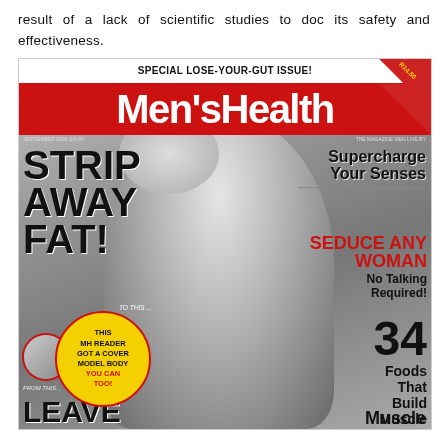result of a lack of scientific studies to doc its safety and effectiveness.
[Figure (photo): Men's Health magazine cover featuring a shirtless fit man, with headline 'SPECIAL LOSE-YOUR-GUT ISSUE!', Men's Health logo in red, text 'STRIP AWAY FAT!', 'Supercharge Your Senses', 'SEDUCE ANY WOMAN No Talking Required!', '34 Foods That Build Muscle', 'THIS MH READER GOT A COVER MODEL BODY YOU CAN TOO!', 'LEAVE' at bottom.]